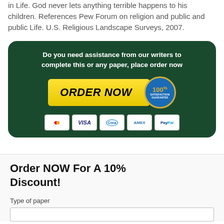in Life. God never lets anything terrible happens to his children. References Pew Forum on religion and public and public Life. U.S. Religious Landscape Surveys, 2007.
[Figure (infographic): Dark green rounded banner with white bold text: 'Do you need assistance from our writers to complete this or any paper, place order now'. Yellow ORDER NOW button with a blue/gold 100% satisfaction guarantee badge. Payment method icons: Mastercard, VISA, CMA, AMEX, PayPal.]
Order NOW For A 10% Discount!
Type of paper